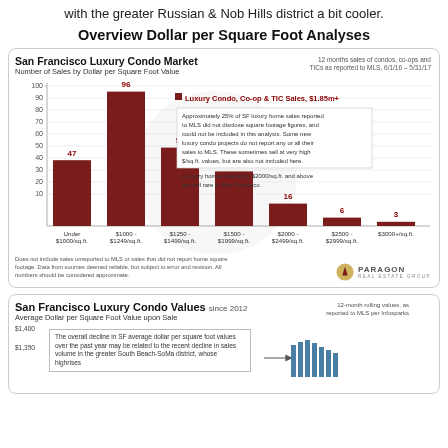with the greater Russian & Nob Hills district a bit cooler.
Overview Dollar per Square Foot Analyses
[Figure (bar-chart): San Francisco Luxury Condo Market — Number of Sales by Dollar per Square Foot Value]
Does not include sales unreported to MLS or sales that did not report home square footage. Data from sources deemed reliable, but subject to error and revision. All numbers should be considered approximate.
[Figure (bar-chart): San Francisco Luxury Condo Values since 2012 — Average Dollar per Square Foot Value upon Sale]
The overall decline in SF average dollar per square foot values over the past year may be related to the recent decline in sales volume in the greater South Beach-SoMa district, whose highrises